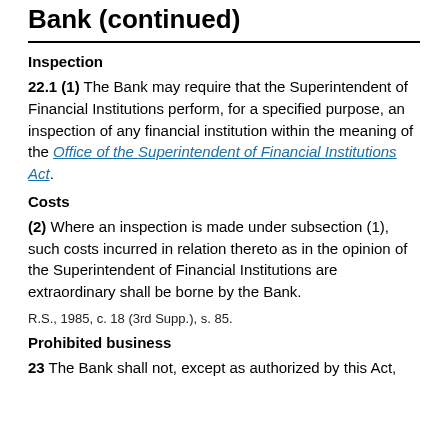Bank (continued)
Inspection
22.1 (1) The Bank may require that the Superintendent of Financial Institutions perform, for a specified purpose, an inspection of any financial institution within the meaning of the Office of the Superintendent of Financial Institutions Act.
Costs
(2) Where an inspection is made under subsection (1), such costs incurred in relation thereto as in the opinion of the Superintendent of Financial Institutions are extraordinary shall be borne by the Bank.
R.S., 1985, c. 18 (3rd Supp.), s. 85.
Prohibited business
23 The Bank shall not, except as authorized by this Act,